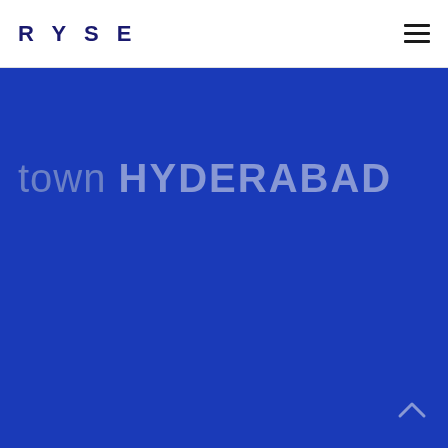RYSE
town HYDERABAD
[Figure (logo): Hamburger menu icon (three horizontal lines) in top right corner]
[Figure (illustration): Scroll-to-top chevron arrow icon in bottom right corner on blue background]